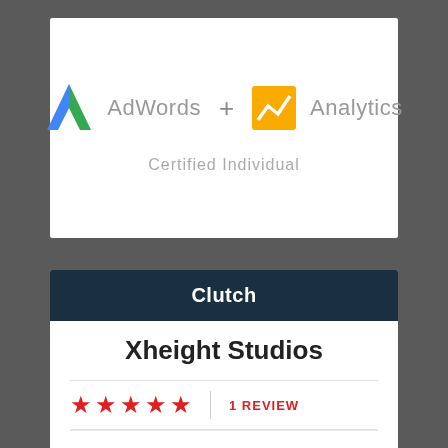[Figure (logo): Google AdWords logo (blue and green A icon) with text 'AdWords', plus sign, Google Analytics logo (orange square with white zigzag chart icon) with text 'Analytics', and below: 'Certified Individual' in gray]
[Figure (infographic): Clutch widget showing dark teal header with 'Clutch' in white bold text, then white area with 'Xheight Studios' in large bold text, five red stars rating with '1 REVIEW' in red, and partial quote text: '"Xheight Studios spent the time understanding what I']